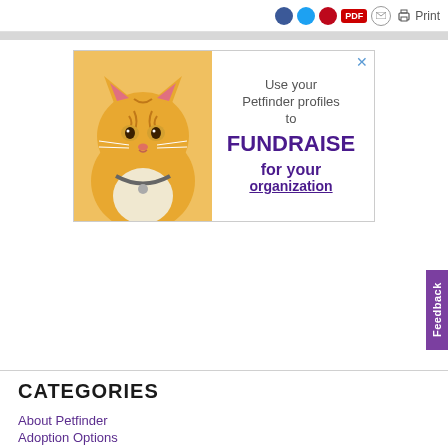[Figure (screenshot): Social share icons (Facebook, Twitter, Pinterest, PDF, email) and a Print button in the top bar]
[Figure (illustration): Advertisement banner showing an orange tabby cat on the left and text on the right: 'Use your Petfinder profiles to FUNDRAISE for your organization']
Feedback
CATEGORIES
About Petfinder
Adoption Options